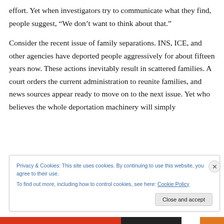effort. Yet when investigators try to communicate what they find, people suggest, “We don’t want to think about that.”
Consider the recent issue of family separations. INS, ICE, and other agencies have deported people aggressively for about fifteen years now. These actions inevitably result in scattered families. A court orders the current administration to reunite families, and news sources appear ready to move on to the next issue. Yet who believes the whole deportation machinery will simply
Privacy & Cookies: This site uses cookies. By continuing to use this website, you agree to their use.
To find out more, including how to control cookies, see here: Cookie Policy
Close and accept